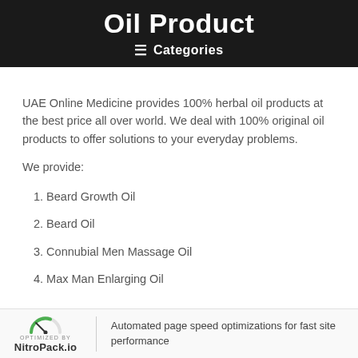Oil Product
≡ Categories
UAE Online Medicine provides 100% herbal oil products at the best price all over world. We deal with 100% original oil products to offer solutions to your everyday problems.
We provide:
1. Beard Growth Oil
2. Beard Oil
3. Connubial Men Massage Oil
4. Max Man Enlarging Oil
OPTIMIZED BY NitroPack.io | Automated page speed optimizations for fast site performance